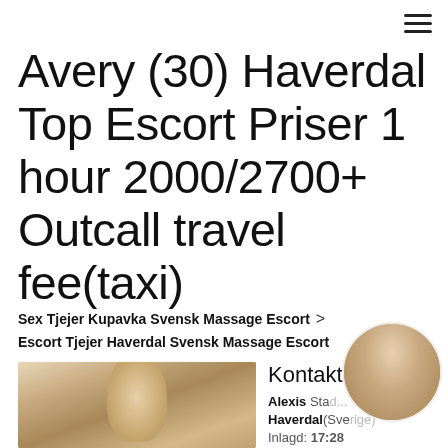Avery (30) Haverdal Top Escort Priser 1 hour 2000/2700+ Outcall travel fee(taxi)
Sex Tjejer Kupavka Svensk Massage Escort > Escort Tjejer Haverdal Svensk Massage Escort
[Figure (photo): Photo of a blonde woman]
Kontakt Alexis Stad: Haverdal(Sverige) Inlagd: 17:28 17.04.2021
[Figure (photo): Circular photo of a dark-haired woman]